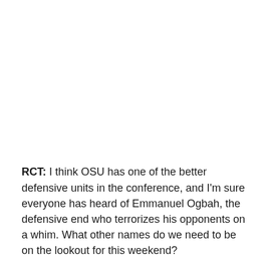RCT: I think OSU has one of the better defensive units in the conference, and I'm sure everyone has heard of Emmanuel Ogbah, the defensive end who terrorizes his opponents on a whim. What other names do we need to be on the lookout for this weekend?